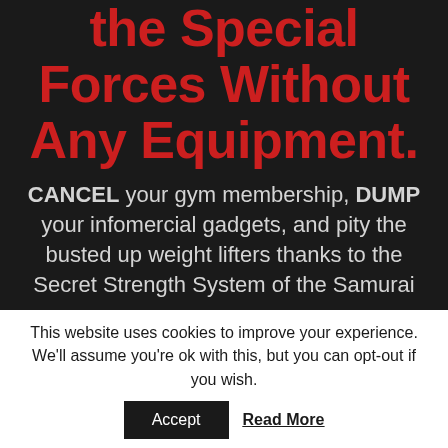the Special Forces Without Any Equipment.
CANCEL your gym membership, DUMP your infomercial gadgets, and pity the busted up weight lifters thanks to the Secret Strength System of the Samurai
This website uses cookies to improve your experience. We'll assume you're ok with this, but you can opt-out if you wish.